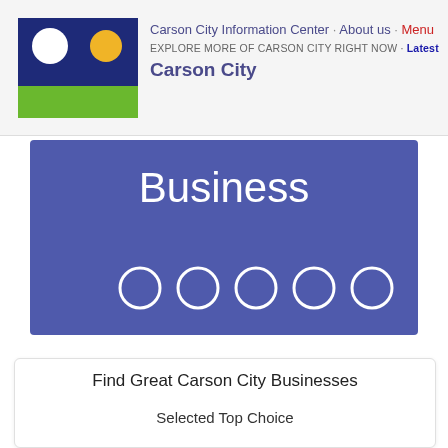Carson City Information Center · About us · Menu
EXPLORE MORE OF CARSON CITY RIGHT NOW · Latest
Carson City
[Figure (screenshot): Blue/purple banner with the word 'Business' in white and five circular dot indicators at the bottom]
Find Great Carson City Businesses
Selected Top Choice